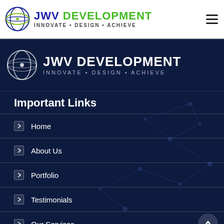[Figure (logo): JWV Development logo in top white navigation bar: globe icon with 'JWV DEVELOPMENT' text in blue/green and tagline 'INNOVATE • DESIGN • ACHIEVE'. Hamburger menu icon on right.]
[Figure (logo): JWV Development logo on dark navy background banner: white globe icon with 'JWV DEVELOPMENT' in white and tagline 'INNOVATE • DESIGN • ACHIEVE' in gray-blue.]
Important Links
Home
About Us
Portfolio
Testimonials
Our Services